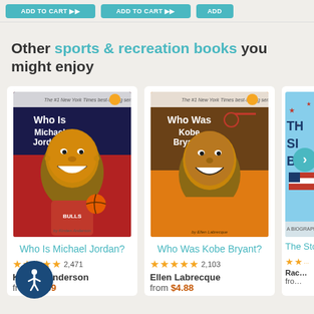[Figure (screenshot): Top bar with teal 'ADD TO CART' style buttons partially visible]
Other sports & recreation books you might enjoy
[Figure (illustration): Book cover: Who Is Michael Jordan? - illustrated caricature of Michael Jordan playing basketball]
Who Is Michael Jordan?
★★★★★ 2,471 Kirsten Anderson from $4.39
[Figure (illustration): Book cover: Who Was Kobe Bryant? - illustrated caricature of Kobe Bryant in Lakers jersey]
Who Was Kobe Bryant?
★★★★★ 2,103 Ellen Labrecque from $4.88
[Figure (illustration): Book cover: Partially visible blue biography book cover with title starting with 'The Si B']
The Story...
Rac... from...
[Figure (logo): Accessibility icon button: dark blue circle with white stick figure person]